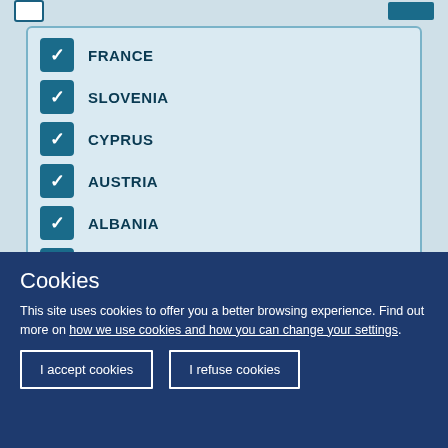FRANCE (checked)
SLOVENIA (checked)
CYPRUS (checked)
AUSTRIA (checked)
ALBANIA (checked)
MOLDOVA (checked)
TURKEY (checked)
ITALY (unchecked) 23
GERMANY (partially visible)
Cookies
This site uses cookies to offer you a better browsing experience. Find out more on how we use cookies and how you can change your settings.
I accept cookies
I refuse cookies